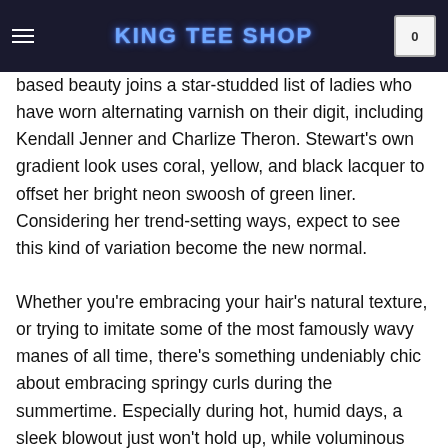King Tee Shop
based beauty joins a star-studded list of ladies who have worn alternating varnish on their digit, including Kendall Jenner and Charlize Theron. Stewart's own gradient look uses coral, yellow, and black lacquer to offset her bright neon swoosh of green liner. Considering her trend-setting ways, expect to see this kind of variation become the new normal. Whether you're embracing your hair's natural texture, or trying to imitate some of the most famously wavy manes of all time, there's something undeniably chic about embracing springy curls during the summertime. Especially during hot, humid days, a sleek blowout just won't hold up, while voluminous twists seem only to get better in warm climates (especially after a day at the beach, where salt from the ocean gives it that extra oomph). With that in mind, Jennifer Lopez is putting down the flat iron and doing curls in the most diva-worthy way.In an Instagram photo posted by her go-to hair stylist, Chris Appleton, Lopez sits in his glam chair wearing